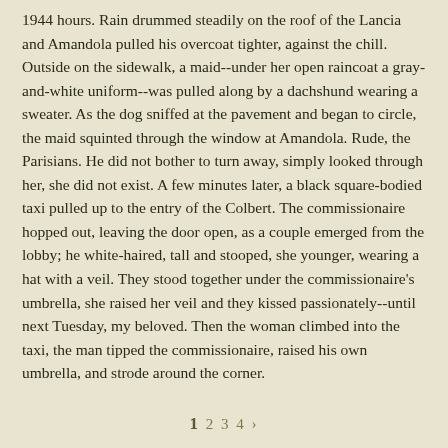1944 hours. Rain drummed steadily on the roof of the Lancia and Amandola pulled his overcoat tighter, against the chill. Outside on the sidewalk, a maid--under her open raincoat a gray-and-white uniform--was pulled along by a dachshund wearing a sweater. As the dog sniffed at the pavement and began to circle, the maid squinted through the window at Amandola. Rude, the Parisians. He did not bother to turn away, simply looked through her, she did not exist. A few minutes later, a black square-bodied taxi pulled up to the entry of the Colbert. The commissionaire hopped out, leaving the door open, as a couple emerged from the lobby; he white-haired, tall and stooped, she younger, wearing a hat with a veil. They stood together under the commissionaire's umbrella, she raised her veil and they kissed passionately--until next Tuesday, my beloved. Then the woman climbed into the taxi, the man tipped the commissionaire, raised his own umbrella, and strode around the corner.
1 2 3 4 ›